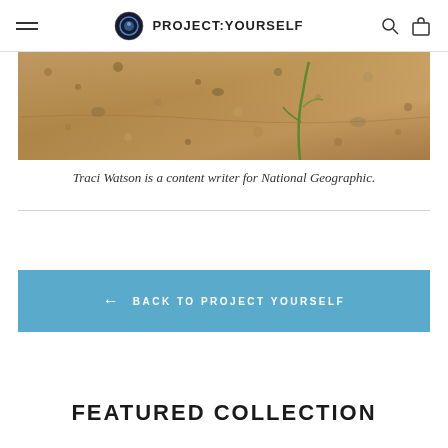PROJECT:YOURSELF
[Figure (photo): Close-up photo of sandy/gravelly ground with a small green plant stem visible]
Traci Watson is a content writer for National Geographic.
← BACK TO PROJECT YOURSELF
FEATURED COLLECTION